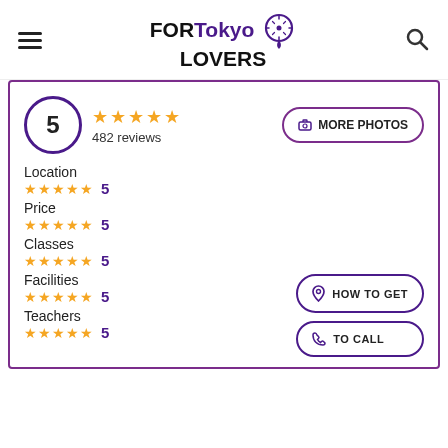FORTokyo LOVERS (logo with location pin and search icon)
5 — 482 reviews
MORE PHOTOS
Location
5
Price
5
Classes
5
Facilities
5
Teachers
5
HOW TO GET
TO CALL